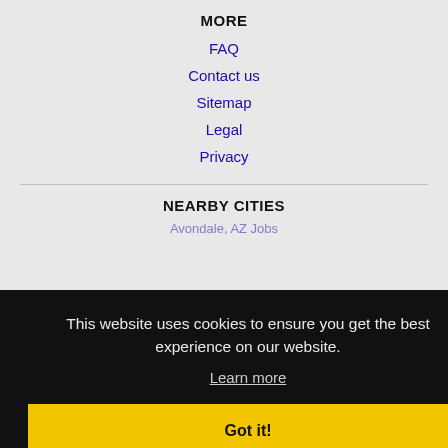MORE
FAQ
Contact us
Sitemap
Legal
Privacy
NEARBY CITIES
Avondale, AZ Jobs
This website uses cookies to ensure you get the best experience on our website.
Learn more
Got it!
Goodyear, AZ Jobs